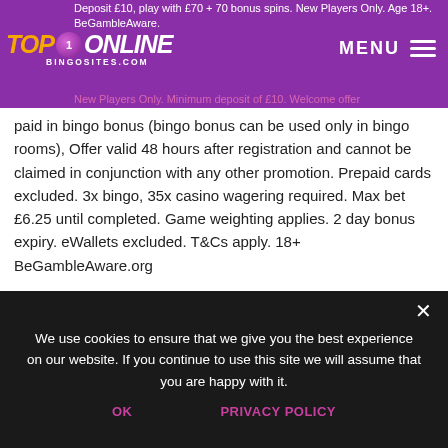TOP 1 ONLINE BINGOSITES.COM | MENU
Deposit £10, play with £70 + 70 bonus spins. New Players Only. Age 18+. BeGambleAware. New Players Only. Minimum deposit of £10. Welcome offer paid in bingo bonus (bingo bonus can be used only in bingo rooms), Offer valid 48 hours after registration and cannot be claimed in conjunction with any other promotion. Prepaid cards excluded. 3x bingo, 35x casino wagering required. Max bet £6.25 until completed. Game weighting applies. 2 day bonus expiry. eWallets excluded. T&Cs apply. 18+ BeGambleAware.org
VISIT
READ REVIEW
We use cookies to ensure that we give you the best experience on our website. If you continue to use this site we will assume that you are happy with it.
OK
PRIVACY POLICY